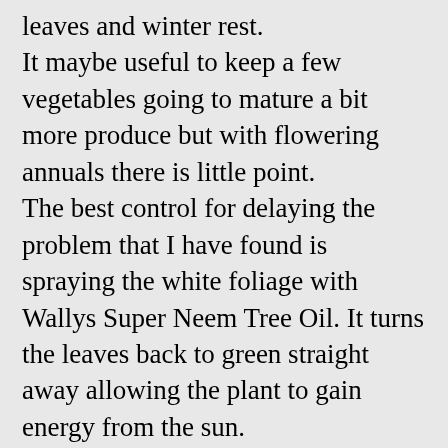leaves and winter rest. It maybe useful to keep a few vegetables going to mature a bit more produce but with flowering annuals there is little point. The best control for delaying the problem that I have found is spraying the white foliage with Wallys Super Neem Tree Oil. It turns the leaves back to green straight away allowing the plant to gain energy from the sun. If you have plants unaffected by the mildew then you can protect them by mixing a tablespoon of baking soda into a litre of warm water, add a mil of Raingard and spray the foliage. Moist times brings out the 'Bryophytes' which are small, non-vascular plants, such